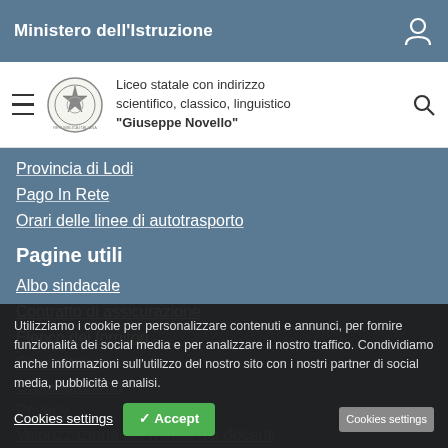Ministero dell'Istruzione
[Figure (logo): Italian Republic emblem/seal logo]
Liceo statale con indirizzo scientifico, classico, linguistico "Giuseppe Novello"
Provincia di Lodi
Pago In Rete
Orari delle linee di autotrasporto
Pagine utili
Albo sindacale
Contratto di assicurazione
Elenco dei fornitori
Graduatorie
Organigramma
Privacy
Valorizzazione del merito dei docenti
USR Lombardia
Utilizziamo i cookie per personalizzare contenuti e annunci, per fornire funzionalità dei social media e per analizzare il nostro traffico. Condividiamo anche informazioni sull'utilizzo del nostro sito con i nostri partner di social media, pubblicità e analisi.
Cookies settings  ✓ Accept  Cookies settings